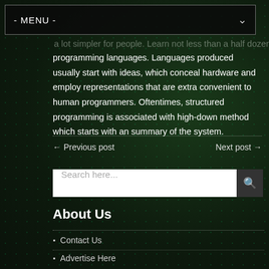- MENU -
a lot simpler for people. Learn not less than a half dozen programming languages. Languages produced usually start with ideas, which conceal hardware and employ representations that are extra convenient to human programmers. Oftentimes, structured programming is associated with high-down method which starts with an summary of the system.
← Previous post    Next post →
Search here...
About Us
Contact Us
Advertise Here